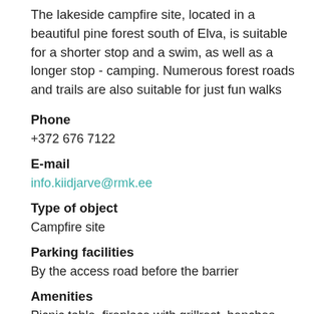The lakeside campfire site, located in a beautiful pine forest south of Elva, is suitable for a shorter stop and a swim, as well as a longer stop - camping. Numerous forest roads and trails are also suitable for just fun walks
Phone
+372 676 7122
E-mail
info.kiidjarve@rmk.ee
Type of object
Campfire site
Parking facilities
By the access road before the barrier
Amenities
Picnic table, fireplace with grillrest, benches,